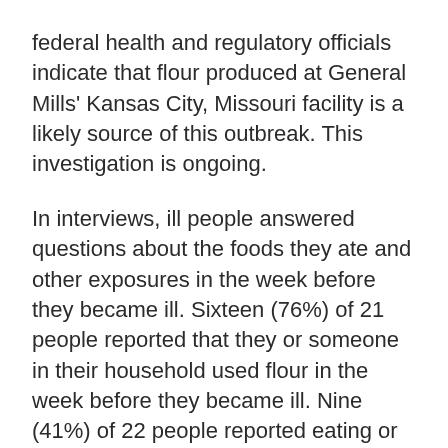federal health and regulatory officials indicate that flour produced at General Mills' Kansas City, Missouri facility is a likely source of this outbreak. This investigation is ongoing.
In interviews, ill people answered questions about the foods they ate and other exposures in the week before they became ill. Sixteen (76%) of 21 people reported that they or someone in their household used flour in the week before they became ill. Nine (41%) of 22 people reported eating or tasting raw homemade dough or batter. Twelve (55%) of 22 people reported using Gold Medal brand flour. Three ill people reported eating or playing with raw dough at restaurants.
These investigations indicated that the flour used by ill people or used in restaurant locations was produced in